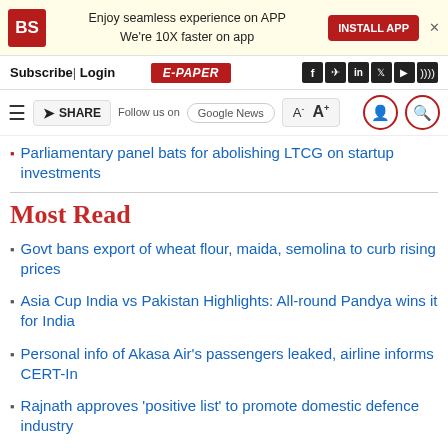BS | Enjoy seamless experience on APP | We're 10X faster on app | INSTALL APP
Subscribe | Login | E-PAPER
Parliamentary panel bats for abolishing LTCG on startup investments
Most Read
Govt bans export of wheat flour, maida, semolina to curb rising prices
Asia Cup India vs Pakistan Highlights: All-round Pandya wins it for India
Personal info of Akasa Air's passengers leaked, airline informs CERT-In
Rajnath approves 'positive list' to promote domestic defence industry
Watch: Controlled explosions bring down Noida's twin towers in seconds